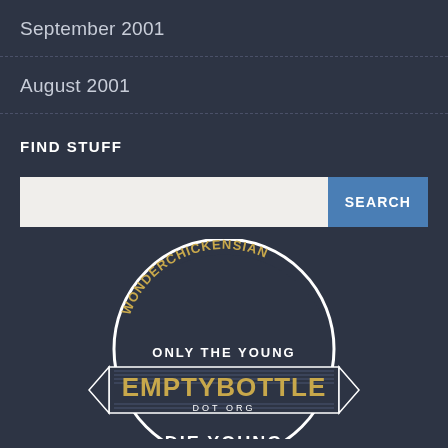September 2001
August 2001
FIND STUFF
[Figure (logo): Wonderchickensian emptybottle.org logo — circular badge with text WONDERCHICKENSIAN arched at top, ONLY THE YOUNG in center, EMPTYBOTTLE in large gold letters on a banner ribbon, DOT ORG below, and DIE YOUNG at the bottom]
DIE YOUNG